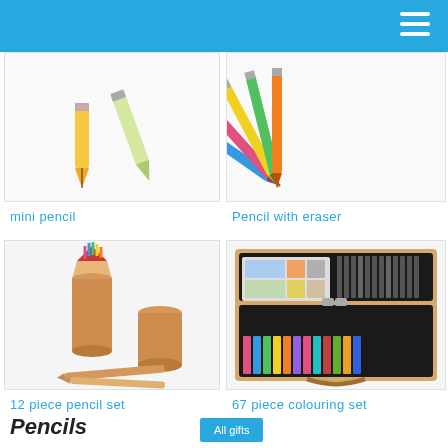[Figure (photo): Mini pencil product photo - small pencil]
mini pencil
[Figure (photo): Pencil with eraser product photo - colored pencils fanned out]
Pencil with eraser
[Figure (photo): 12 piece pencil set - wooden pencil holder shaped like a pencil with colored pencils inside and two loose pencils]
12 piece pencil set
[Figure (photo): 67 piece colouring set - open wooden case with many colored pencils, markers and art supplies]
67 piece colouring set
Pencils
All gifts